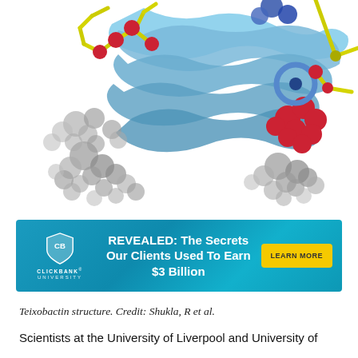[Figure (illustration): 3D molecular structure visualization of Teixobactin showing protein/peptide structure with blue ribbon helices, red and gray spheres (atoms), yellow-green stick structures, and blue ring elements on white background.]
[Figure (other): ClickBank University advertisement banner: teal/blue gradient background, shield logo with 'CB' and 'CLICKBANK UNIVERSITY' text on left, bold white text 'REVEALED: The Secrets Our Clients Used To Earn $3 Billion' in center, yellow 'LEARN MORE' button on right.]
Teixobactin structure. Credit: Shukla, R et al.
Scientists at the University of Liverpool and University of